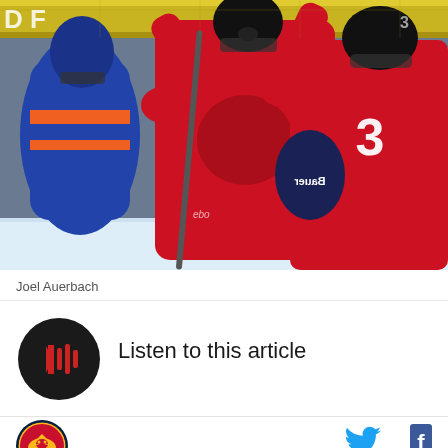[Figure (photo): Two Florida Panthers hockey players in red jerseys celebrating on ice, player #3 visible on right, opponent in orange/blue jersey visible on left, Reebok and Bauer branding visible, hockey rink boards in background]
Joel Auerbach
[Figure (other): Audio player button - black circle with red play/audio waveform icon]
Listen to this article
[Figure (logo): Florida Panthers team logo - circular logo with panther]
[Figure (logo): Twitter bird icon (blue) and Facebook f icon (dark blue) for social sharing]